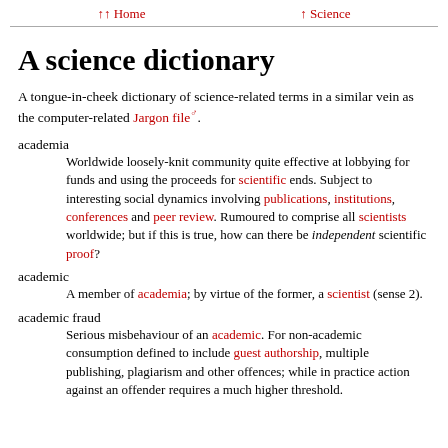↑↑ Home   ↑ Science
A science dictionary
A tongue-in-cheek dictionary of science-related terms in a similar vein as the computer-related Jargon file♂.
academia — Worldwide loosely-knit community quite effective at lobbying for funds and using the proceeds for scientific ends. Subject to interesting social dynamics involving publications, institutions, conferences and peer review. Rumoured to comprise all scientists worldwide; but if this is true, how can there be independent scientific proof?
academic — A member of academia; by virtue of the former, a scientist (sense 2).
academic fraud — Serious misbehaviour of an academic. For non-academic consumption defined to include guest authorship, multiple publishing, plagiarism and other offences; while in practice action against an offender requires a much higher threshold.